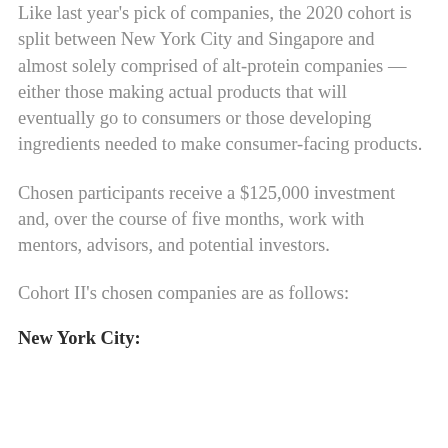Like last year's pick of companies, the 2020 cohort is split between New York City and Singapore and almost solely comprised of alt-protein companies — either those making actual products that will eventually go to consumers or those developing ingredients needed to make consumer-facing products.
Chosen participants receive a $125,000 investment and, over the course of five months, work with mentors, advisors, and potential investors.
Cohort II's chosen companies are as follows:
New York City: